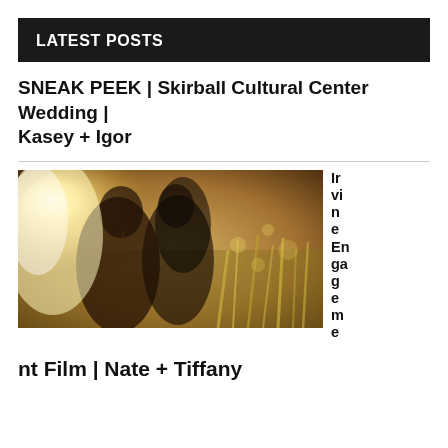LATEST POSTS
SNEAK PEEK | Skirball Cultural Center Wedding | Kasey + Igor
[Figure (photo): Couple kissing outdoors in a golden field with bright backlighting and bokeh grass stems]
Irvine Engagement
nt Film | Nate + Tiffany